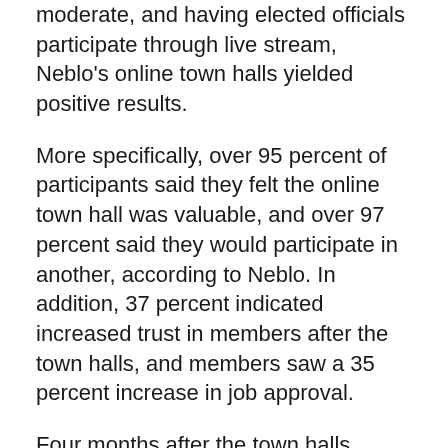moderate, and having elected officials participate through live stream, Neblo's online town halls yielded positive results.
More specifically, over 95 percent of participants said they felt the online town hall was valuable, and over 97 percent said they would participate in another, according to Neblo. In addition, 37 percent indicated increased trust in members after the town halls, and members saw a 35 percent increase in job approval.
Four months after the town halls, participating constituents were more likely to vote, and 10 percent were more likely to vote for participating members.
Although Neblo offered one solution, Harris added that expanding the field of vendors who can offer innovative solutions to Congress is also critical. Furthermore, she said that solutions should balance public participation and data use to tie constituent sentiment and data-